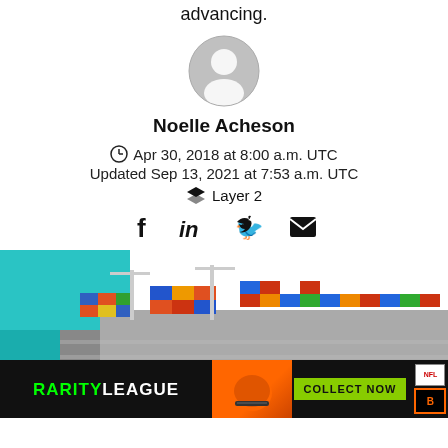advancing.
[Figure (illustration): Generic user avatar icon (gray circle with person silhouette)]
Noelle Acheson
Apr 30, 2018 at 8:00 a.m. UTC
Updated Sep 13, 2021 at 7:53 a.m. UTC
Layer 2
[Figure (illustration): Social media icons: Facebook, LinkedIn, Twitter, Email]
[Figure (photo): Aerial view of a shipping port with colorful cargo containers and cranes near turquoise water]
[Figure (illustration): Advertisement banner: Rarity League NFL collect now ad]